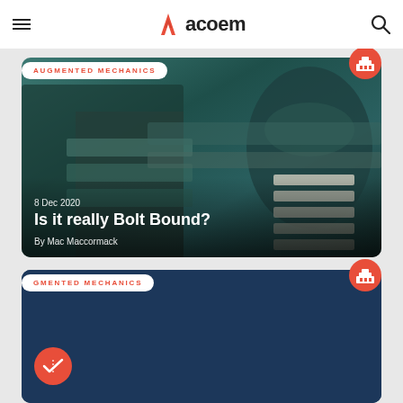acoem
AUGMENTED MECHANICS
[Figure (photo): Close-up industrial photo of worn machinery components, heavy metal parts with a dark teal/green tint]
8 Dec 2020
Is it really Bolt Bound?
By Mac Maccormack
GMENTED MECHANICS